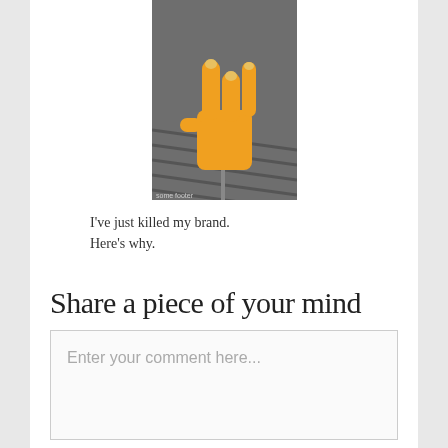[Figure (photo): An orange hand emoji or sticker shaped like a rock/metal hand sign (index finger and pinky raised, thumb out) placed on a dark grey textured fabric or denim background.]
I've just killed my brand. Here's why.
Share a piece of your mind
Enter your comment here...
«Next Post Tell me who you are
When the going gets tough, the tough get